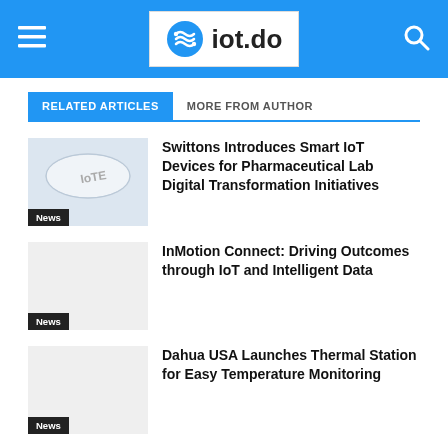iot.do
RELATED ARTICLES | MORE FROM AUTHOR
[Figure (photo): IoT device product photo showing a small white rectangular device with 'IoT' label]
Swittons Introduces Smart IoT Devices for Pharmaceutical Lab Digital Transformation Initiatives
News
InMotion Connect: Driving Outcomes through IoT and Intelligent Data
News
Dahua USA Launches Thermal Station for Easy Temperature Monitoring
News